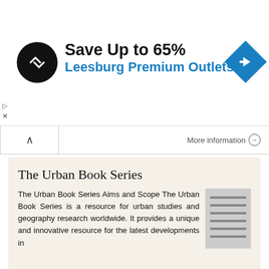[Figure (screenshot): Advertisement banner: black circular logo with arrow icon, 'Save Up to 65%' in bold, 'Leesburg Premium Outlets' in blue, blue diamond navigation icon on right]
More information →
The Urban Book Series
The Urban Book Series Aims and Scope The Urban Book Series is a resource for urban studies and geography research worldwide. It provides a unique and innovative resource for the latest developments in
More information →
The Fed at One Hundred
The Fed at One Hundred ThiS is a FM Blank Page David Howden Joseph T. Salerno Editors The Fed at One Hundred A Critical View on the Federal Reserve System